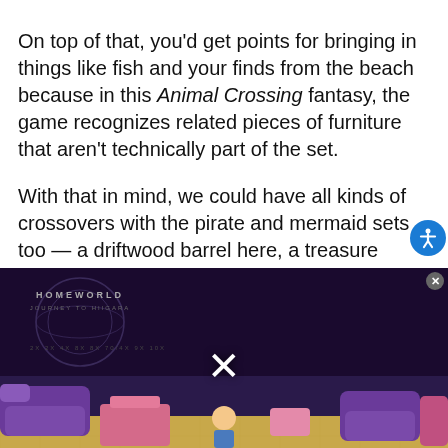On top of that, you'd get points for bringing in things like fish and your finds from the beach because in this Animal Crossing fantasy, the game recognizes related pieces of furniture that aren't technically part of the set.
With that in mind, we could have all kinds of crossovers with the pirate and mermaid sets too — a driftwood barrel here, a treasure chest there, a shell screen or lamp at the other end of the room. I have no idea how challenging it would be to make the game recognize relevance over just strict theme membership, but why not dream?
[Figure (screenshot): Video player showing Homeworld Journey to Hiigara Pinball with media load error overlay. Below is a screenshot of an Animal Crossing room with purple furniture, pink accents, and a character standing in the center.]